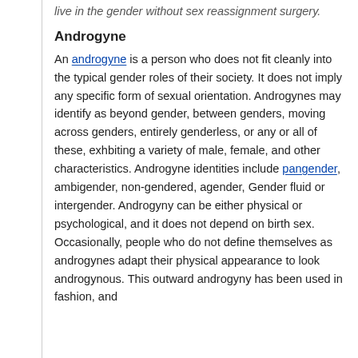live in the gender without sex reassignment surgery.
Androgyne
An androgyne is a person who does not fit cleanly into the typical gender roles of their society. It does not imply any specific form of sexual orientation. Androgynes may identify as beyond gender, between genders, moving across genders, entirely genderless, or any or all of these, exhbiting a variety of male, female, and other characteristics. Androgyne identities include pangender, ambigender, non-gendered, agender, Gender fluid or intergender. Androgyny can be either physical or psychological, and it does not depend on birth sex. Occasionally, people who do not define themselves as androgynes adapt their physical appearance to look androgynous. This outward androgyny has been used in fashion, and